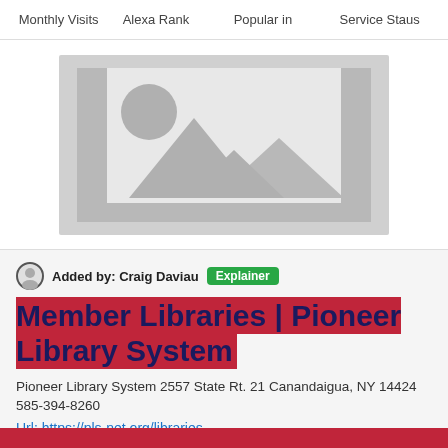Monthly Visits   Alexa Rank   Popular in   Service Staus
[Figure (illustration): Placeholder image icon showing mountains and a circle (sun) on a gray background, representing a missing or unavailable website screenshot.]
Added by: Craig Daviau   Explainer
Member Libraries | Pioneer Library System
Pioneer Library System 2557 State Rt. 21 Canandaigua, NY 14424 585-394-8260
Url: https://pls-net.org/libraries